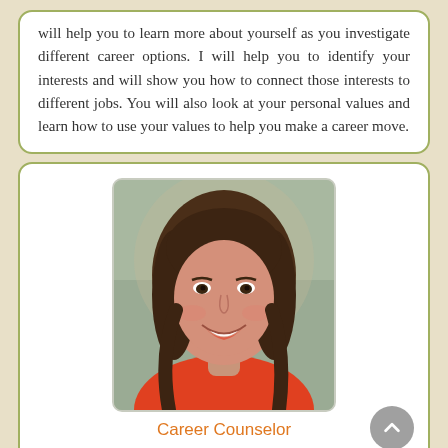will help you to learn more about yourself as you investigate different career options. I will help you to identify your interests and will show you how to connect those interests to different jobs. You will also look at your personal values and learn how to use your values to help you make a career move.
[Figure (photo): Photo of a smiling young woman with long brown hair, wearing an orange top, representing a Career Counselor.]
Career Counselor